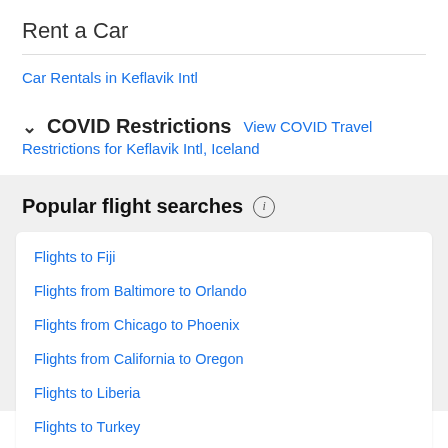Rent a Car
Car Rentals in Keflavik Intl
COVID Restrictions  View COVID Travel Restrictions for Keflavik Intl, Iceland
Popular flight searches
Flights to Fiji
Flights from Baltimore to Orlando
Flights from Chicago to Phoenix
Flights from California to Oregon
Flights to Liberia
Flights to Turkey